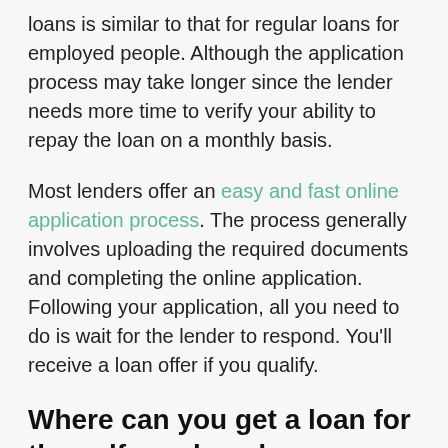loans is similar to that for regular loans for employed people. Although the application process may take longer since the lender needs more time to verify your ability to repay the loan on a monthly basis.
Most lenders offer an easy and fast online application process. The process generally involves uploading the required documents and completing the online application. Following your application, all you need to do is wait for the lender to respond. You'll receive a loan offer if you qualify.
Where can you get a loan for the self-employed
Below you can learn about the different types of...